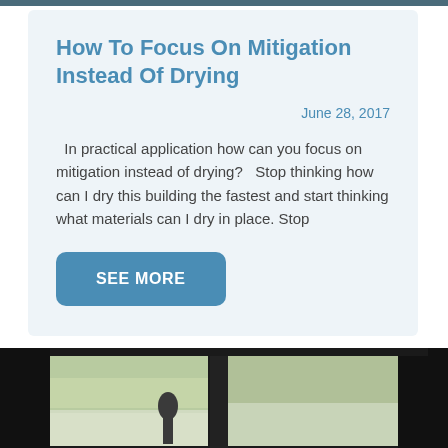How To Focus On Mitigation Instead Of Drying
June 28, 2017
In practical application how can you focus on mitigation instead of drying?   Stop thinking how can I dry this building the fastest and start thinking what materials can I dry in place. Stop
SEE MORE
[Figure (photo): Dark interior view through a window or door showing an outdoor scene with trees and a figure silhouette]